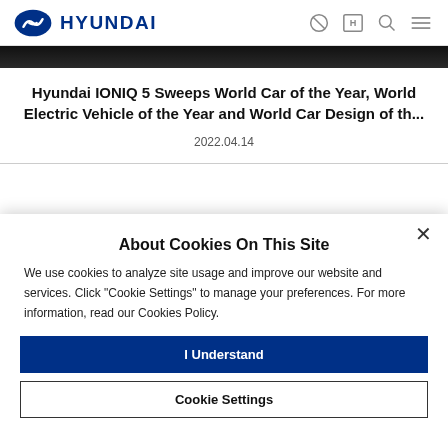HYUNDAI
[Figure (photo): Dark image strip at top of article]
Hyundai IONIQ 5 Sweeps World Car of the Year, World Electric Vehicle of the Year and World Car Design of th...
2022.04.14
About Cookies On This Site
We use cookies to analyze site usage and improve our website and services. Click "Cookie Settings" to manage your preferences. For more information, read our Cookies Policy.
I Understand
Cookie Settings